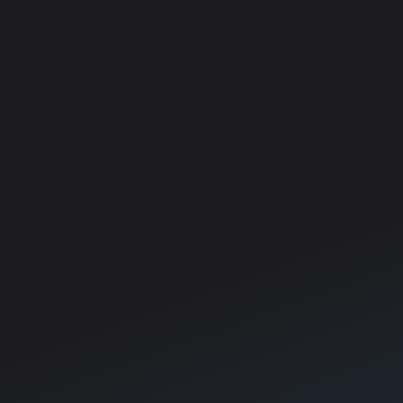[Figure (photo): Dark screenshot panel on the left side, showing a dimly lit game environment with dark blue-grey tones]
Attacker reward = Portion of 500...
Attacker Victory (attacker territory...
Attacker reward = Portion of 500...
Defender reward = Portion of 500...
Draw (attacker territory is less tha...
Attacker reward = Portion of 500...
Defender reward = Portion of 500...
Concurrent alerts are now suppo...
Multiple alerts can now be active...
You must be on the continent of t...
The continent selector on the ma...
The warpgate terminal also show...
Outfit capture data will clear if co...
If the last continent you were on i...
Capture Progress is now reset w...
Added lock icon on continent sele...
Lethality Changes (Rocket Launc...
We have a long term goal to rem... about reducing vehicle lethality a... adjusting the lethality of heavy as...
For most Heavy Assault rocket la... the rocket launchers incapable of...